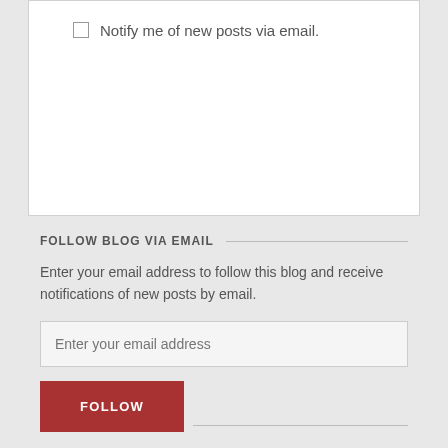Notify me of new posts via email.
FOLLOW BLOG VIA EMAIL
Enter your email address to follow this blog and receive notifications of new posts by email.
Enter your email address
FOLLOW
TOP POSTS & PAGES